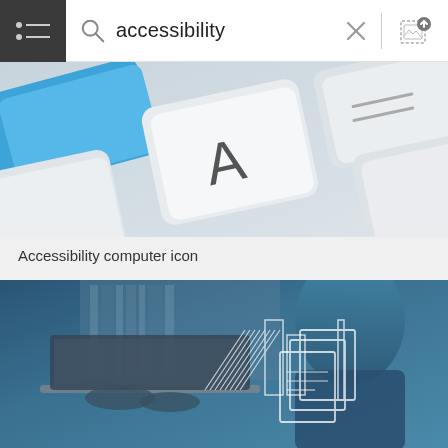accessibility
[Figure (screenshot): Close-up photo of a white computer keyboard with a blue key and an 'A' key visible, on a light grey background]
Accessibility computer icon
[Figure (photo): Person in blue hoodie using a laptop computer with overlaid holographic document and data icons, in a teal/blue toned photo]